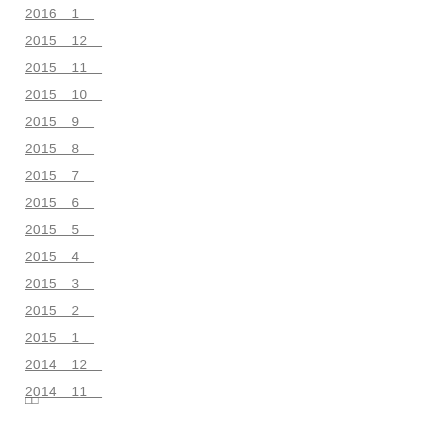2016　1
2015　12
2015　11
2015　10
2015　9
2015　8
2015　7
2015　6
2015　5
2015　4
2015　3
2015　2
2015　1
2014　12
2014　11
□□